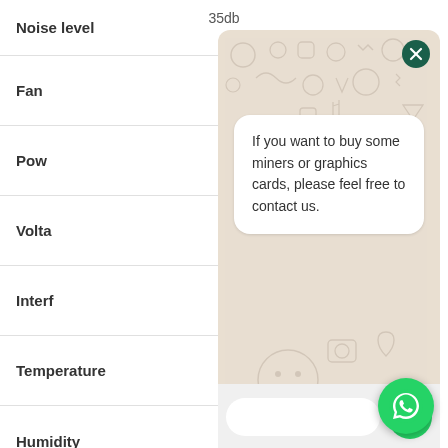35db
Noise level
Fan
Pow
Volta
Interf
Temperature
Humidity
5 – 95 %
[Figure (screenshot): WhatsApp chat overlay with message: 'If you want to buy some miners or graphics cards, please feel free to contact us.' with close button, text input field, send button, and WhatsApp floating icon]
If you want to buy some miners or graphics cards, please feel free to contact us.